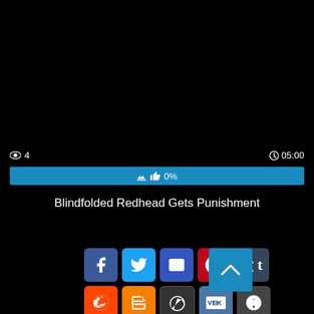[Figure (screenshot): Black video player area]
👁 4   🕐05:00
[Figure (other): Blue progress bar showing thumbs up icon and 0%]
Blindfolded Redhead Gets Punishment
[Figure (other): Social share buttons: Facebook, Twitter, Email, Pinterest, Tumblr, Reddit, Blogger, WordPress, VK, More; and a scroll-to-top button]